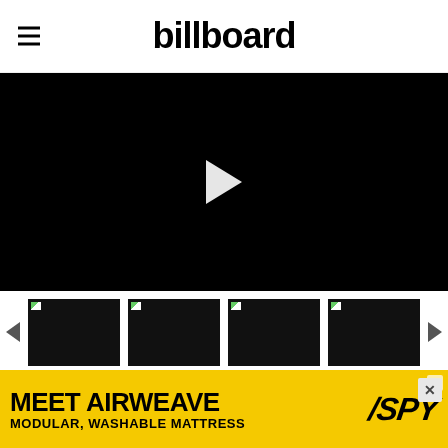billboard
[Figure (screenshot): Black video player with white play button triangle in center]
[Figure (screenshot): Row of four dark video thumbnails with left and right navigation arrows]
Of “Yonaguni,” expect a bit of both words. “It’s a balanc…
[Figure (photo): Yellow advertisement banner: MEET AIRWEAVE MODULAR, WASHABLE MATTRESS with SPY logo]